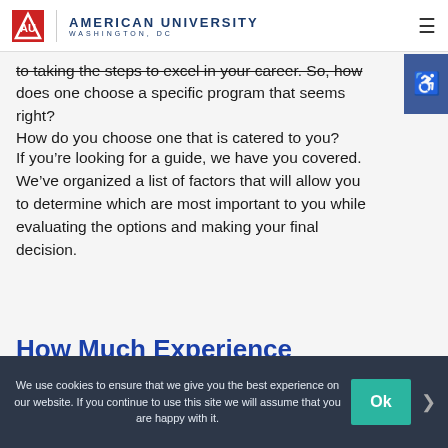American University Washington, DC
to taking the steps to excel in your career. So, how does one choose a specific program that seems right? How do you choose one that is catered to you?
If you’re looking for a guide, we have you covered. We’ve organized a list of factors that will allow you to determine which are most important to you while evaluating the options and making your final decision.
How Much Experience Is Needed?
We use cookies to ensure that we give you the best experience on our website. If you continue to use this site we will assume that you are happy with it.